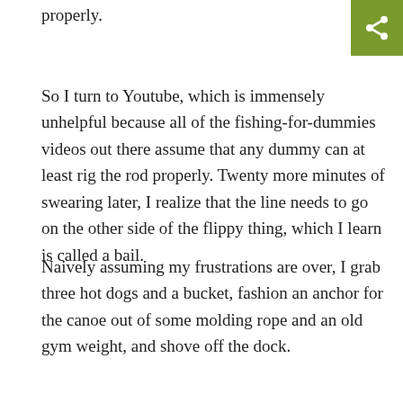properly.
So I turn to Youtube, which is immensely unhelpful because all of the fishing-for-dummies videos out there assume that any dummy can at least rig the rod properly. Twenty more minutes of swearing later, I realize that the line needs to go on the other side of the flippy thing, which I learn is called a bail.
Naively assuming my frustrations are over, I grab three hot dogs and a bucket, fashion an anchor for the canoe out of some molding rope and an old gym weight, and shove off the dock.